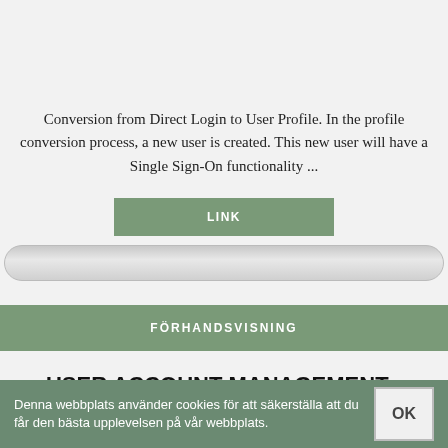Conversion from Direct Login to User Profile. In the profile conversion process, a new user is created. This new user will have a Single Sign-On functionality ...
[Figure (screenshot): Green button labeled LINK]
[Figure (screenshot): Gray input bar / search field]
[Figure (screenshot): Green wide button labeled FÖRHANDSVISNING]
USER ACCOUNT MANAGEMENT - ADFORM - LOGGA IN WEBBPLATSER
Denna webbplats använder cookies för att säkerställa att du får den bästa upplevelsen på vår webbplats.
[Figure (screenshot): OK button on cookie consent bar]